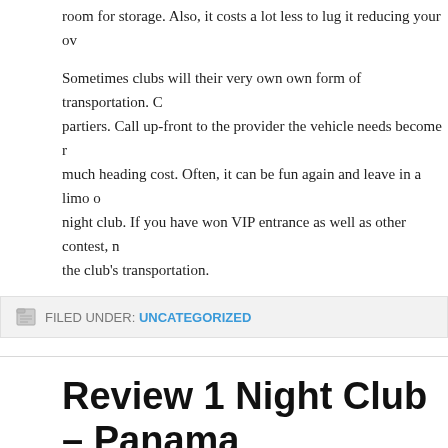room for storage. Also, it costs a lot less to lug it reducing your ov
Sometimes clubs will their very own own form of transportation. C partiers. Call up-front to the provider the vehicle needs become r much heading cost. Often, it can be fun again and leave in a limo o night club. If you have won VIP entrance as well as other contest, n the club’s transportation.
FILED UNDER: UNCATEGORIZED
Review 1 Night Club – Panama
AUGUST 11, 2022 BY ADMIN
I can’t tell you how many females have told me over time that usu club or would like to continue in a book club tend to be afraid beca about failures of being involved a single. I won’t lie; there a regarc obnoxious members, having to read cheesy novels, dull, vapid con deficit of any discussion about system.